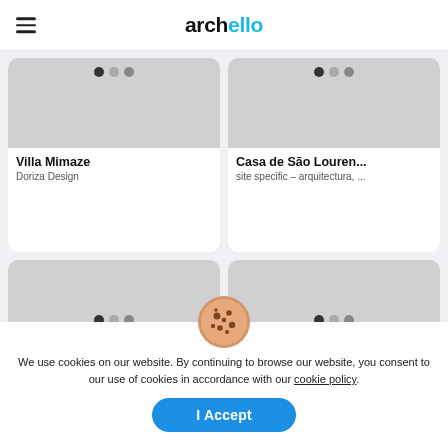archello
[Figure (screenshot): Card image placeholder for Villa Mimaze – grey rectangle with three dots (black, grey, dark grey) near top center]
Villa Mimaze
Doriza Design
[Figure (screenshot): Card image placeholder for Casa de São Louren... – grey rectangle with three dots near top center]
Casa de São Louren...
site specific – arquitectura, ...
[Figure (screenshot): Card image placeholder bottom-left – grey rectangle with three dots near center]
[Figure (screenshot): Card image placeholder bottom-right – grey rectangle with three dots near center]
We use cookies on our website. By continuing to browse our website, you consent to our use of cookies in accordance with our cookie policy.
I Accept